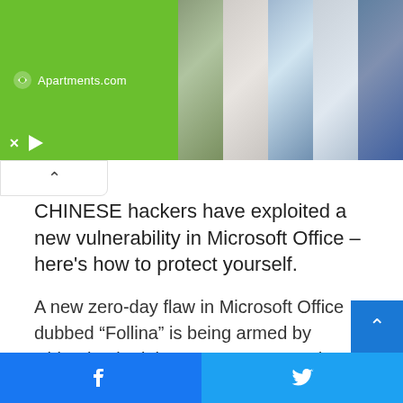[Figure (screenshot): Apartments.com advertisement banner showing green logo on left and five apartment/property photos on right]
[Figure (screenshot): Collapse/minimize button with upward chevron arrow below the ad banner]
CHINESE hackers have exploited a new vulnerability in Microsoft Office – here’s how to protect yourself.
A new zero-day flaw in Microsoft Office dubbed “Follina” is being armed by China-backed threat actor TA413, The Hac…ker News reported.
[Figure (screenshot): Blue scroll-to-top button with white upward chevron on right side]
[Figure (screenshot): Social media sharing bar at bottom: Facebook (blue) on left, Twitter (light blue) on right]